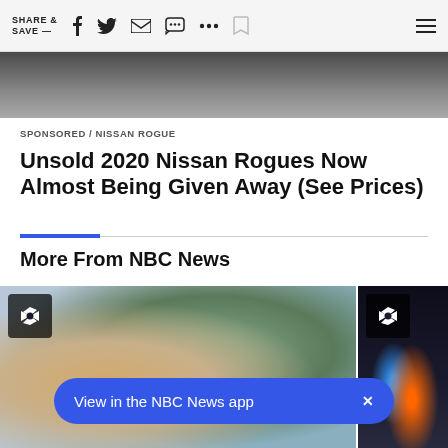SHARE & SAVE —
[Figure (photo): Top portion of a dark car, cropped hero image]
SPONSORED / NISSAN ROGUE
Unsold 2020 Nissan Rogues Now Almost Being Given Away (See Prices)
More From NBC News
[Figure (photo): Dishwasher with plates and glasses, NBC News thumbnail]
[Figure (photo): Night police scene with lights, NBC News thumbnail]
View in the NBC News app